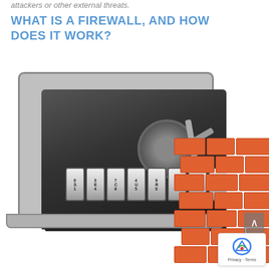attackers or other external threats.
WHAT IS A FIREWALL, AND HOW DOES IT WORK?
[Figure (photo): Illustration of a laptop computer with a combination lock spelling SECURITY on the screen and a brick wall built in front of it, symbolizing firewall and network security. A reCAPTCHA badge and a scroll-to-top button are visible in the lower right corner.]